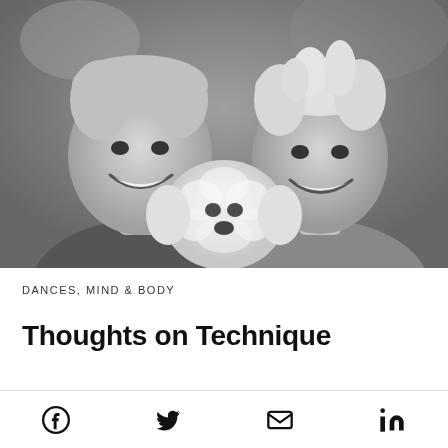[Figure (photo): Black and white photograph of a man and woman smiling, with a small white fluffy dog (appears to be a Bichon Frise or similar breed) held between them. The man is on the left with short grey hair, and the woman is on the right with short blonde hair.]
DANCES, MIND & BODY
Thoughts on Technique
[Figure (other): Social media share icons bar with Facebook, Twitter, Email, and LinkedIn icons]